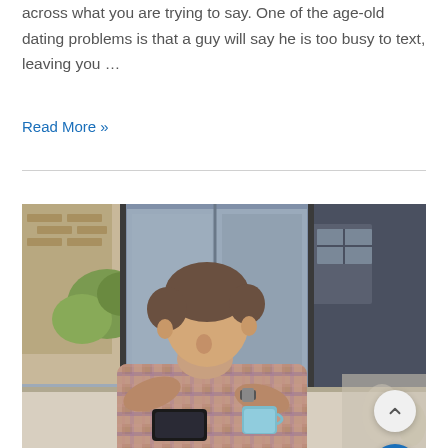across what you are trying to say. One of the age-old dating problems is that a guy will say he is too busy to text, leaving you …
Read More »
[Figure (photo): A young man in a plaid shirt sits at a table with his head bowed and hands clasped together in front of his face, appearing stressed or pensive. A smartphone and coffee cup are visible on the table. A large window and urban buildings are visible in the background.]